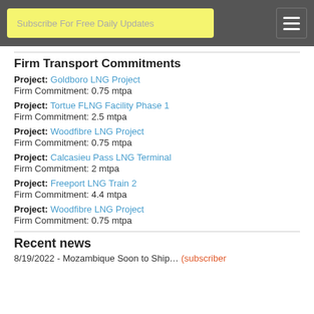Subscribe For Free Daily Updates
Firm Transport Commitments
Project: Goldboro LNG Project
Firm Commitment: 0.75 mtpa
Project: Tortue FLNG Facility Phase 1
Firm Commitment: 2.5 mtpa
Project: Woodfibre LNG Project
Firm Commitment: 0.75 mtpa
Project: Calcasieu Pass LNG Terminal
Firm Commitment: 2 mtpa
Project: Freeport LNG Train 2
Firm Commitment: 4.4 mtpa
Project: Woodfibre LNG Project
Firm Commitment: 0.75 mtpa
Recent news
8/19/2022 - Mozambique Soon to Ship... (subscriber